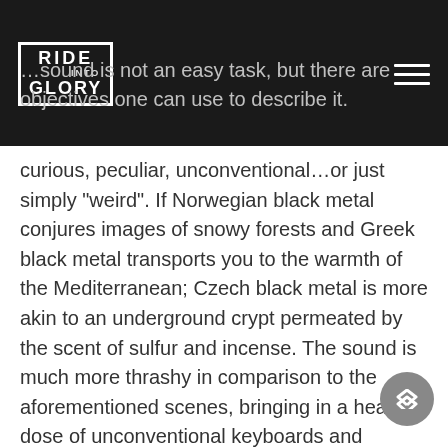Ride into Glory
curious, peculiar, unconventional…or just simply "weird". If Norwegian black metal conjures images of snowy forests and Greek black metal transports you to the warmth of the Mediterranean; Czech black metal is more akin to an underground crypt permeated by the scent of sulfur and incense. The sound is much more thrashy in comparison to the aforementioned scenes, bringing in a heavy dose of unconventional keyboards and esoteric guitar leads that creates the perfect feeling of occult magic. In this respect, Czech black metal is different from other early 90s black metal scenes in that they took the theatrical and bombastic elements of early Mercyful Fate and Venom to create a new branch which black metal could lead to.